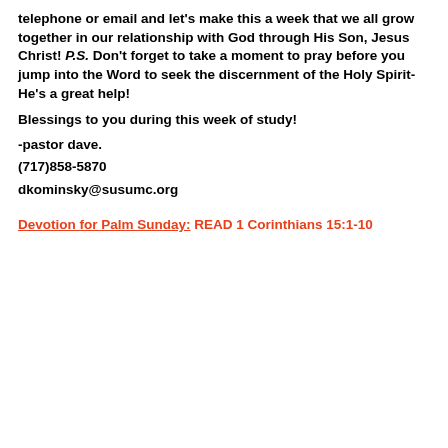telephone or email and let's make this a week that we all grow together in our relationship with God through His Son, Jesus Christ! P.S. Don't forget to take a moment to pray before you jump into the Word to seek the discernment of the Holy Spirit- He's a great help!
Blessings to you during this week of study!
-pastor dave.
(717)858-5870
dkominsky@susumc.org
Devotion for Palm Sunday: READ 1 Corinthians 15:1-10